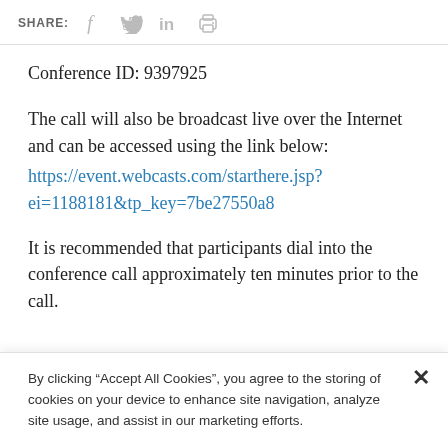SHARE: [facebook] [twitter] [linkedin] [print]
Conference ID: 9397925
The call will also be broadcast live over the Internet and can be accessed using the link below:
https://event.webcasts.com/starthere.jsp?ei=1188181&tp_key=7be27550a8
It is recommended that participants dial into the conference call approximately ten minutes prior to the call.
By clicking “Accept All Cookies”, you agree to the storing of cookies on your device to enhance site navigation, analyze site usage, and assist in our marketing efforts.